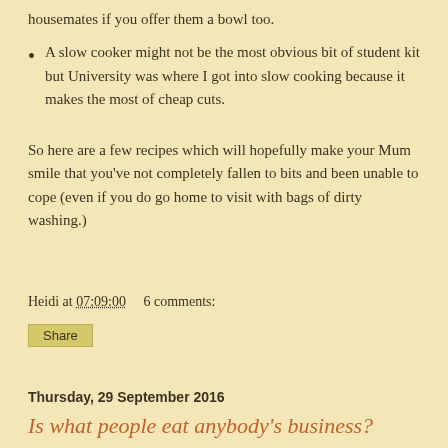housemates if you offer them a bowl too.
A slow cooker might not be the most obvious bit of student kit but University was where I got into slow cooking because it makes the most of cheap cuts.
So here are a few recipes which will hopefully make your Mum smile that you've not completely fallen to bits and been unable to cope (even if you do go home to visit with bags of dirty washing.)
Heidi at 07:09:00    6 comments:
Share
Thursday, 29 September 2016
Is what people eat anybody's business?